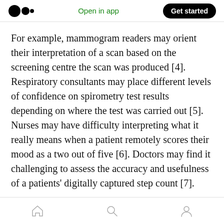Open in app | Get started
For example, mammogram readers may orient their interpretation of a scan based on the screening centre the scan was produced [4]. Respiratory consultants may place different levels of confidence on spirometry test results depending on where the test was carried out [5]. Nurses may have difficulty interpreting what it really means when a patient remotely scores their mood as a two out of five [6]. Doctors may find it challenging to assess the accuracy and usefulness of a patients' digitally captured step count [7].
Home | Search | Profile